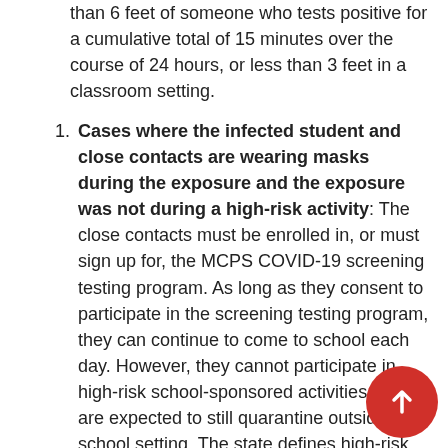than 6 feet of someone who tests positive for a cumulative total of 15 minutes over the course of 24 hours, or less than 3 feet in a classroom setting.
Cases where the infected student and close contacts are wearing masks during the exposure and the exposure was not during a high-risk activity: The close contacts must be enrolled in, or must sign up for, the MCPS COVID-19 screening testing program. As long as they consent to participate in the screening testing program, they can continue to come to school each day. However, they cannot participate in high-risk school-sponsored activities and are expected to still quarantine outside the school setting. The state defines high-risk settings or activities as “indoor or high-contact athletics, and indoor forced exhalation activities, such as singing, exercising, or playing a wind or brass instrument.” Families can enroll in the screening testing program by filling out the linked here.